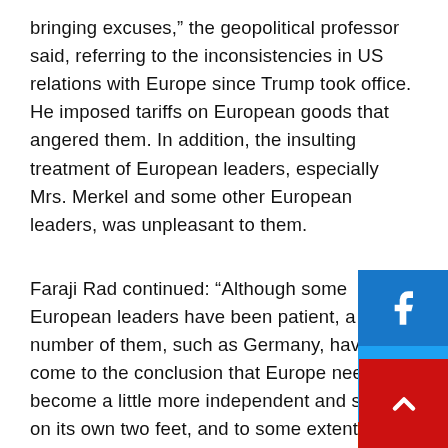bringing excuses,” the geopolitical professor said, referring to the inconsistencies in US relations with Europe since Trump took office. He imposed tariffs on European goods that angered them. In addition, the insulting treatment of European leaders, especially Mrs. Merkel and some other European leaders, was unpleasant to them.
Faraji Rad continued: “Although some European leaders have been patient, a number of them, such as Germany, have come to the conclusion that Europe needs to become a little more independent and stand on its own two feet, and to some extent reduce its concerns by approaching Russia.”
Referring to recent remarks by the German